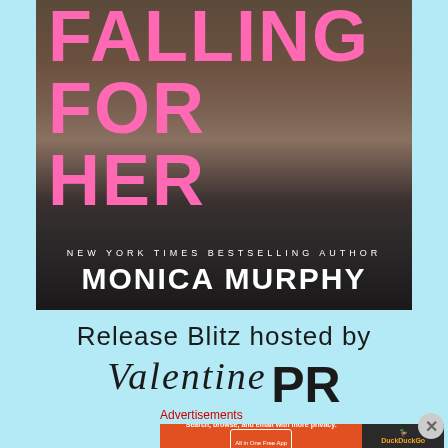[Figure (illustration): Book cover for 'Falling For Her' by Monica Murphy. Shows a shirtless man in jeans against a wall. Pink title text overlaid: 'FALLING FOR HER'. White text at bottom: 'NEW YORK TIMES BESTSELLING AUTHOR' and 'MONICA MURPHY'.]
Release Blitz hosted by
Valentine PR
Advertisements
[Figure (screenshot): DuckDuckGo advertisement banner. Orange section: 'Search, browse, and email with more privacy. All in One Free App'. Dark section with DuckDuckGo duck logo.]